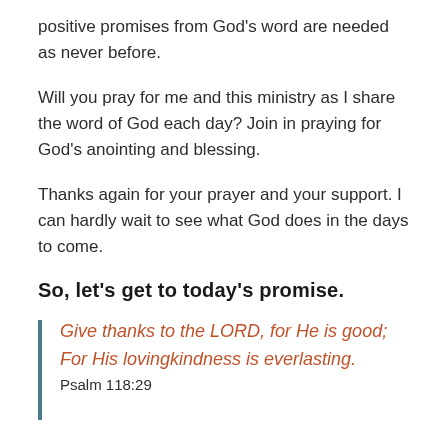positive promises from God's word are needed as never before.
Will you pray for me and this ministry as I share the word of God each day? Join in praying for God's anointing and blessing.
Thanks again for your prayer and your support. I can hardly wait to see what God does in the days to come.
So, let's get to today's promise.
Give thanks to the LORD, for He is good; For His lovingkindness is everlasting.  Psalm 118:29